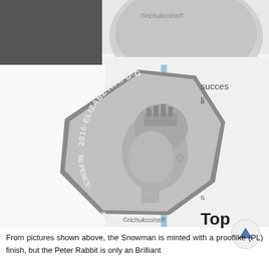[Figure (photo): Top portion of a coin photo showing a partial view of a 50p coin with watermark text '©richukcoins®']
[Figure (photo): 2016 Elizabeth II 50 Pence UK coin obverse showing portrait of Queen Elizabeth II with inscription '2016·ELIZABETH II·D·G·REG·F·D·50 PENCE' and watermark '©richukcoins®']
succes li
s Top
From pictures shown above, the Snowman is minted with a prooflike (PL) finish, but the Peter Rabbit is only an Brilliant